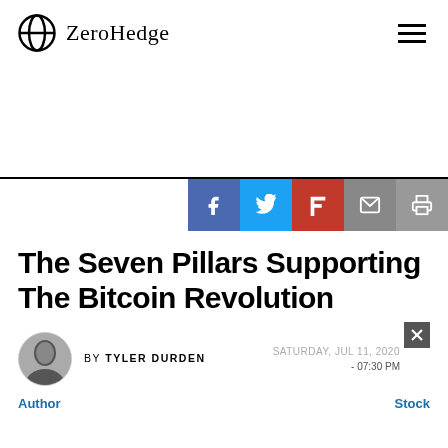ZeroHedge
[Figure (other): Advertisement / empty white space area]
[Figure (infographic): Social share buttons row: Facebook (blue), Twitter (light blue), Flipboard (red), Email (grey), Print (grey)]
The Seven Pillars Supporting The Bitcoin Revolution
[Figure (photo): Author avatar photo of Tyler Durden]
BY TYLER DURDEN
SATURDAY, JUL 11, 2020 - 07:30 PM
Author
Stock